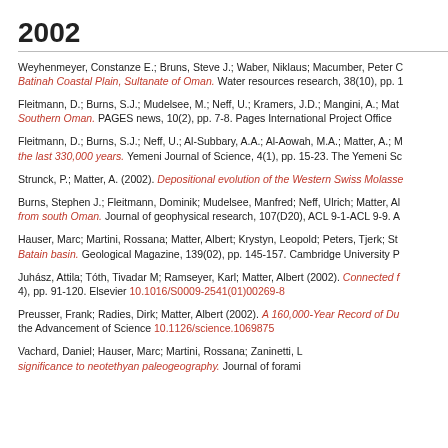2002
Weyhenmeyer, Constanze E.; Bruns, Steve J.; Waber, Niklaus; Macumber, Peter C. Batinah Coastal Plain, Sultanate of Oman. Water resources research, 38(10), pp. …
Fleitmann, D.; Burns, S.J.; Mudelsee, M.; Neff, U.; Kramers, J.D.; Mangini, A.; Mat… Southern Oman. PAGES news, 10(2), pp. 7-8. Pages International Project Office
Fleitmann, D.; Burns, S.J.; Neff, U.; Al-Subbary, A.A.; Al-Aowah, M.A.; Matter, A.; M… the last 330,000 years. Yemeni Journal of Science, 4(1), pp. 15-23. The Yemeni Sc…
Strunck, P.; Matter, A. (2002). Depositional evolution of the Western Swiss Molasse…
Burns, Stephen J.; Fleitmann, Dominik; Mudelsee, Manfred; Neff, Ulrich; Matter, Al… from south Oman. Journal of geophysical research, 107(D20), ACL 9-1-ACL 9-9. A…
Hauser, Marc; Martini, Rossana; Matter, Albert; Krystyn, Leopold; Peters, Tjerk; St… Batain basin. Geological Magazine, 139(02), pp. 145-157. Cambridge University P…
Juhász, Attila; Tóth, Tivadar M; Ramseyer, Karl; Matter, Albert (2002). Connected f… 4), pp. 91-120. Elsevier 10.1016/S0009-2541(01)00269-8
Preusser, Frank; Radies, Dirk; Matter, Albert (2002). A 160,000-Year Record of Du… the Advancement of Science 10.1126/science.1069875
Vachard, Daniel; Hauser, Marc; Martini, Rossana; Zaninetti, L… significance to neotethyan paleogeography. Journal of forami…